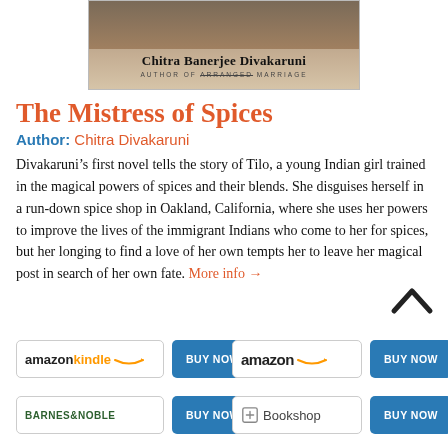[Figure (photo): Book cover image for 'The Mistress of Spices' by Chitra Banerjee Divakaruni, showing author name and subtitle 'AUTHOR OF ARRANGED MARRIAGE']
The Mistress of Spices
Author: Chitra Divakaruni
Divakaruni’s first novel tells the story of Tilo, a young Indian girl trained in the magical powers of spices and their blends. She disguises herself in a run-down spice shop in Oakland, California, where she uses her powers to improve the lives of the immigrant Indians who come to her for spices, but her longing to find a love of her own tempts her to leave her magical post in search of her own fate. More info →
[Figure (other): Amazon Kindle BUY NOW button]
[Figure (other): Amazon BUY NOW button]
[Figure (other): Barnes & Noble BUY NOW button]
[Figure (other): Bookshop BUY NOW button]